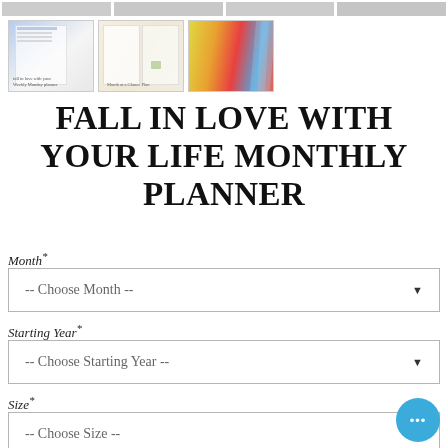[Figure (photo): Product thumbnail gallery showing planner images: top partial strip with multiple thumbnails, bottom row with three thumbnails showing a weekly planner spread, open planner pages, and colorful tabbed pages]
FALL IN LOVE WITH YOUR LIFE MONTHLY PLANNER
Month*
-- Choose Month --
Starting Year*
-- Choose Starting Year --
Size*
-- Choose Size --